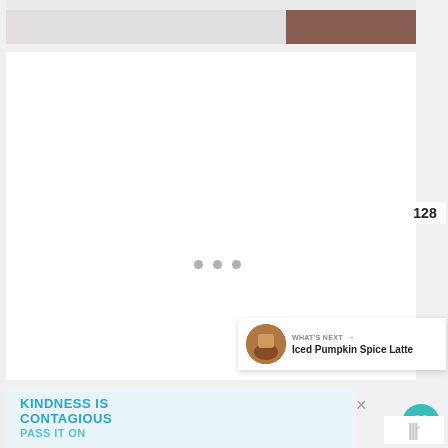[Figure (photo): Top portion of a snowy winter photo with dark reddish-brown area on the right side]
[Figure (screenshot): White content loading area with three gray dots indicating loading state]
[Figure (infographic): Teal circular heart/favorite button showing 128 likes, and a share button below]
[Figure (screenshot): What's Next panel showing thumbnail and text 'Iced Pumpkin Spice Latte']
128
WHAT'S NEXT → Iced Pumpkin Spice Latte
KINDNESS IS CONTAGIOUS
PASS IT ON